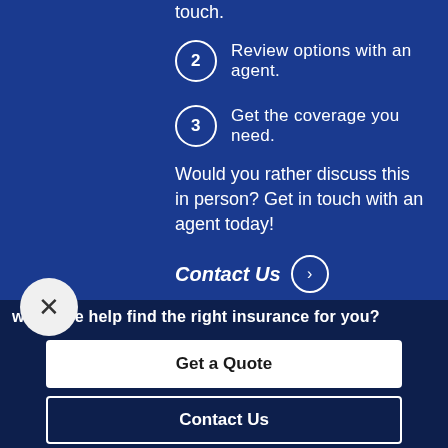touch.
2. Review options with an agent.
3. Get the coverage you need.
Would you rather discuss this in person? Get in touch with an agent today!
Contact Us →
× (close button)
w can we help find the right insurance for you?
Get a Quote
Contact Us